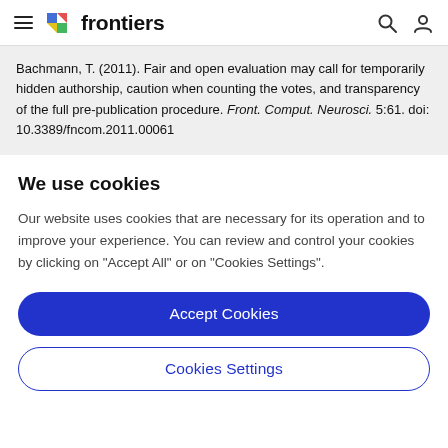frontiers
Bachmann, T. (2011). Fair and open evaluation may call for temporarily hidden authorship, caution when counting the votes, and transparency of the full pre-publication procedure. Front. Comput. Neurosci. 5:61. doi: 10.3389/fncom.2011.00061
We use cookies
Our website uses cookies that are necessary for its operation and to improve your experience. You can review and control your cookies by clicking on "Accept All" or on "Cookies Settings".
Accept Cookies
Cookies Settings